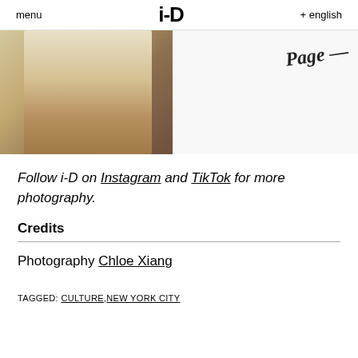menu   i-D   + english
[Figure (photo): Partial view of a person in a light-colored dress or skirt, photographed from waist down, with a blurred indoor background. Right side shows handwritten text partially visible.]
Follow i-D on Instagram and TikTok for more photography.
Credits
Photography Chloe Xiang
TAGGED: CULTURE, NEW YORK CITY